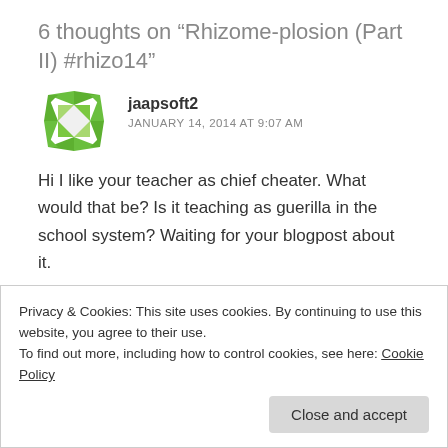6 thoughts on “Rhizome-plosion (Part II) #rhizo14”
jaapsoft2
JANUARY 14, 2014 AT 9:07 AM
Hi I like your teacher as chief cheater. What would that be? Is it teaching as guerilla in the school system? Waiting for your blogpost about it.
★ Like
Privacy & Cookies: This site uses cookies. By continuing to use this website, you agree to their use.
To find out more, including how to control cookies, see here: Cookie Policy